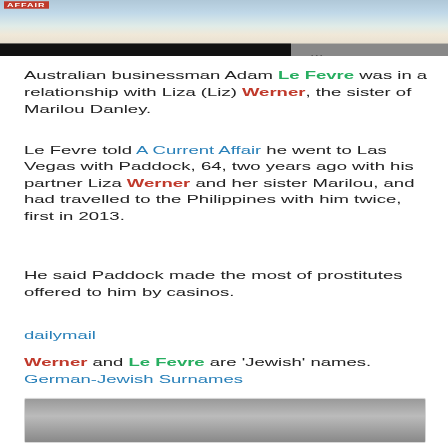[Figure (photo): Partial photo of a person, partially obscured by a black bar. A red label reading 'AFFAIR' is visible in the top left corner.]
Australian businessman Adam Le Fevre was in a relationship with Liza (Liz) Werner, the sister of Marilou Danley.
Le Fevre told A Current Affair he went to Las Vegas with Paddock, 64, two years ago with his partner Liza Werner and her sister Marilou, and had travelled to the Philippines with him twice, first in 2013.
He said Paddock made the most of prostitutes offered to him by casinos.
dailymail
Werner and Le Fevre are 'Jewish' names. German-Jewish Surnames
[Figure (photo): Partial photo of two people, bottom of page, cut off.]